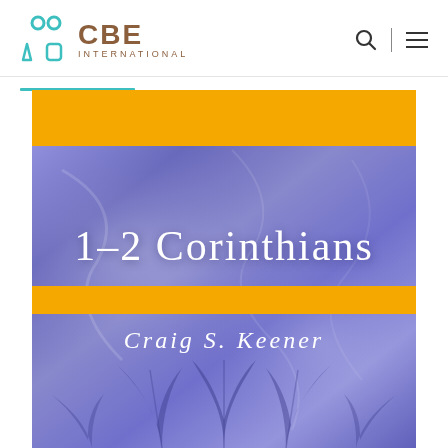[Figure (logo): CBE International logo with teal icon and brown text]
[Figure (illustration): Book cover of '1-2 Corinthians' by Craig S. Keener. Purple marble background with gold horizontal bands, white serif title text '1-2 CORINTHIANS', author name 'CRAIG S. KEENER', and botanical leaf decorations at the bottom.]